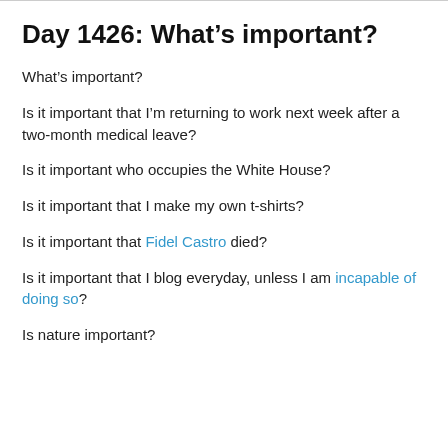Day 1426: What’s important?
What’s important?
Is it important that I’m returning to work next week after a two-month medical leave?
Is it important who occupies the White House?
Is it important that I make my own t-shirts?
Is it important that Fidel Castro died?
Is it important that I blog everyday, unless I am incapable of doing so?
Is nature important?